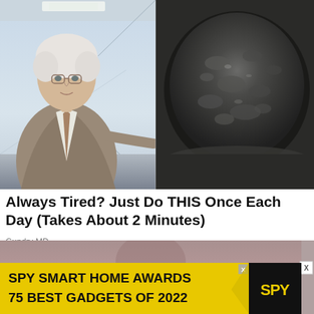[Figure (photo): An older white-haired man in a suit and tie pointing to a pan of food on the right side. Hospital corridor background behind him. On the right is a close-up image of dark, cooked food in a round pan.]
Always Tired? Just Do THIS Once Each Day (Takes About 2 Minutes)
Gundry MD
[Figure (photo): Advertisement banner. Background shows a partial image of a person. Below is a yellow advertisement banner reading: SPY SMART HOME AWARDS 75 BEST GADGETS OF 2022 with SPY logo. An X close button appears.]